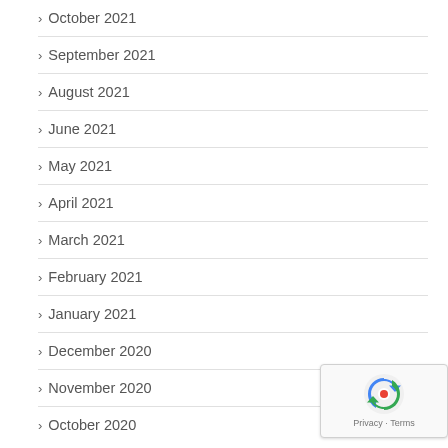> October 2021
> September 2021
> August 2021
> June 2021
> May 2021
> April 2021
> March 2021
> February 2021
> January 2021
> December 2020
> November 2020
> October 2020